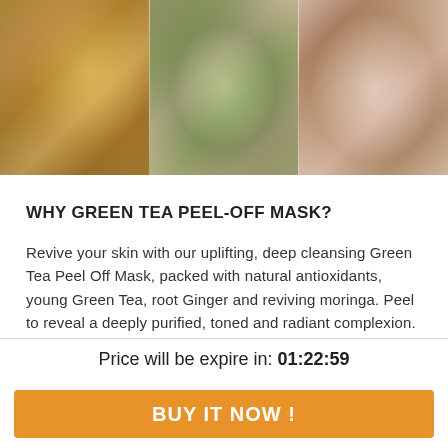[Figure (photo): Three close-up photos side by side showing green tea peel-off mask textures: left shows golden/yellow glittery mask, center shows dark green granular mask with pink skin, right shows pink skin with brown mask residue]
WHY GREEN TEA PEEL-OFF MASK?
Revive your skin with our uplifting, deep cleansing Green Tea Peel Off Mask, packed with natural antioxidants, young Green Tea, root Ginger and reviving moringa. Peel to reveal a deeply purified, toned and radiant complexion. Use weekly. Peel-Off masks are gentler and more effective than scrubs whilst leaving skin
Price will be expire in: 01:22:59
BUY IT NOW !